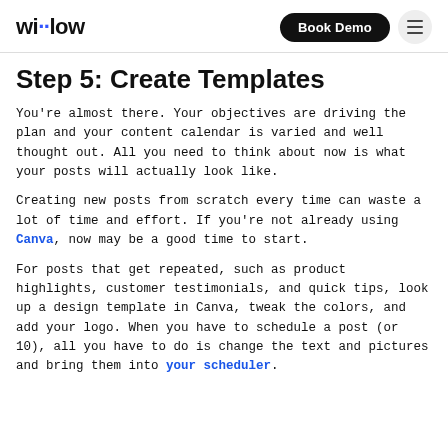willow | Book Demo
Step 5: Create Templates
You're almost there. Your objectives are driving the plan and your content calendar is varied and well thought out. All you need to think about now is what your posts will actually look like.
Creating new posts from scratch every time can waste a lot of time and effort. If you're not already using Canva, now may be a good time to start.
For posts that get repeated, such as product highlights, customer testimonials, and quick tips, look up a design template in Canva, tweak the colors, and add your logo. When you have to schedule a post (or 10), all you have to do is change the text and pictures and bring them into your scheduler.